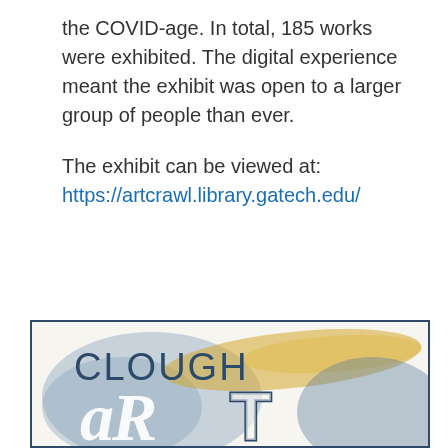the COVID-age. In total, 185 works were exhibited. The digital experience meant the exhibit was open to a larger group of people than ever.

The exhibit can be viewed at:
https://artcrawl.library.gatech.edu/
[Figure (logo): Clough aRt crawl logo with watercolor paint strokes in blue-grey and gold/yellow, with large stylized letters 'CLOUGH' and 'aRt' in overlapping graphic design style]